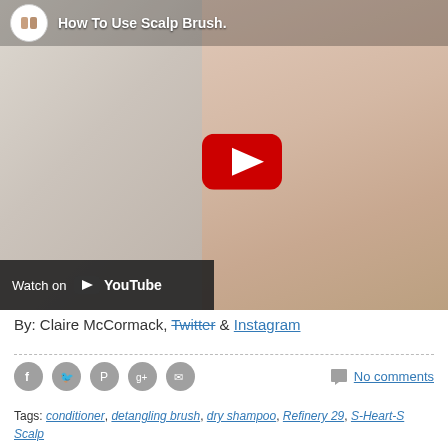[Figure (screenshot): YouTube video thumbnail showing a woman touching her hair/neck with video title 'How To Use Scalp Brush.' and a red YouTube play button overlay. 'Watch on YouTube' bar at bottom left.]
By: Claire McCormack, Twitter & Instagram
Tags: conditioner, detangling brush, dry shampoo, Refinery 29, S-Heart-S Scalp Brush, ...